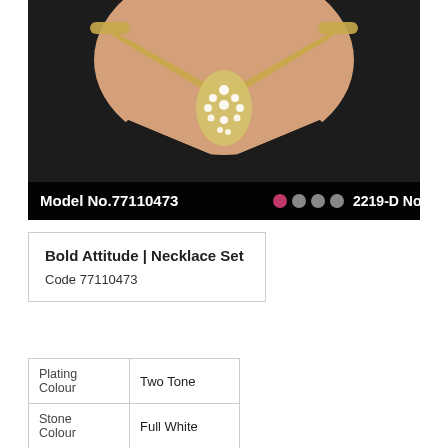[Figure (photo): Photo of a gold and silver two-tone diamond necklace set worn by a model in a black outfit. The necklace features a floral/leaf pendant with white stones. Black background. Bottom bar shows: Model No.77110473 with colored dots, and 2219-D No.333]
Model No.77110473   2219-D No.333
Bold Attitude | Necklace Set
Code 77110473
| Plating Colour | Two Tone |
| Stone Colour | Full White |
| Stone Size | Mix |